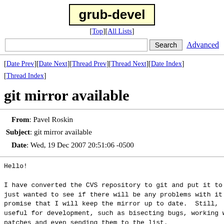grub-devel
[Top][All Lists]
[Search] Advanced
[Date Prev][Date Next][Thread Prev][Thread Next][Date Index][Thread Index]
git mirror available
From: Pavel Roskin
Subject: git mirror available
Date: Wed, 19 Dec 2007 20:51:06 -0500
Hello!

I have converted the CVS repository to git and put it to
just wanted to see if there will be any problems with it
promise that I will keep the mirror up to date.  Still,
useful for development, such as bisecting bugs, working w
patches and even sending them to the list.

To get the repository, use this command:
git-clone http://git.802111libre.org/grub2.git